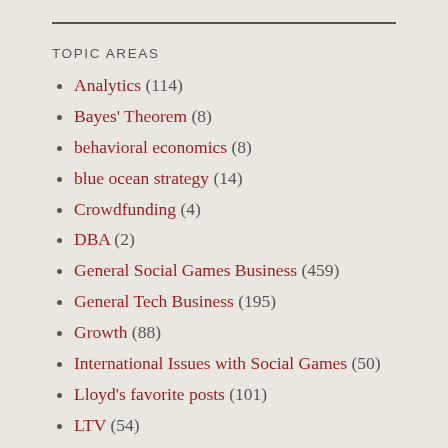TOPIC AREAS
Analytics (114)
Bayes' Theorem (8)
behavioral economics (8)
blue ocean strategy (14)
Crowdfunding (4)
DBA (2)
General Social Games Business (459)
General Tech Business (195)
Growth (88)
International Issues with Social Games (50)
Lloyd's favorite posts (101)
LTV (54)
Machine Learning (?)